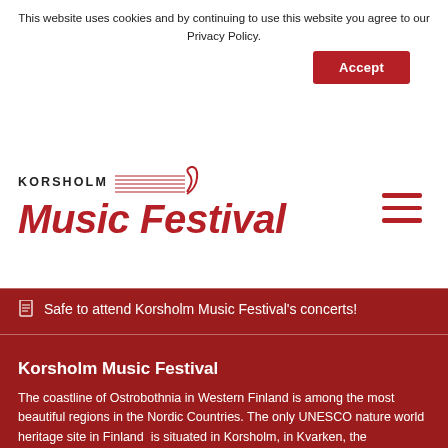This website uses cookies and by continuing to use this website you agree to our Privacy Policy.
Accept
[Figure (logo): Korsholm Music Festival logo with red italic text and music staff lines graphic]
[Figure (other): Hamburger menu icon with three red horizontal lines]
Safe to attend Korsholm Music Festival's concerts!
Korsholm Music Festival
The coastline of Ostrobothnia in Western Finland is among the most beautiful regions in the Nordic Countries. The only UNESCO nature world heritage site in Finland  is situated in Korsholm, in Kvarken, the archipelagoarea between Finland and Sweden.
Since 1983 Korsholm Music Festival has invited leading nordic and international artists to perform in unique surroundings of historic concert halls, museums, rustic archipelago rooms and wooden churches, so typical for the